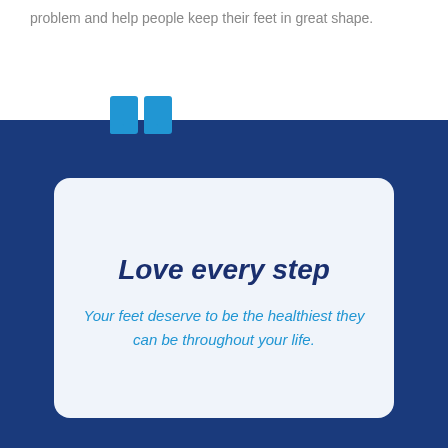problem and help people keep their feet in great shape.
[Figure (infographic): Dark blue background panel with a white rounded card containing a large quotation mark graphic in light blue, bold italic heading 'Love every step' in dark navy, and italic subtext in light blue reading 'Your feet deserve to be the healthiest they can be throughout your life.']